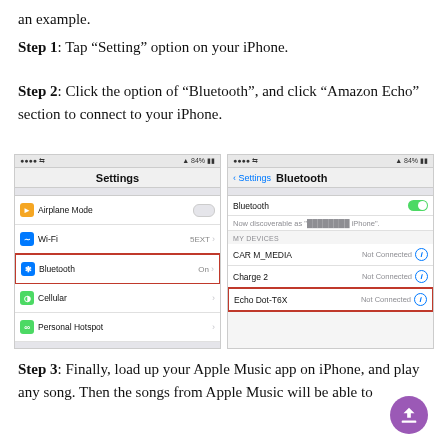an example.
Step 1: Tap “Setting” option on your iPhone.
Step 2: Click the option of “Bluetooth”, and click “Amazon Echo” section to connect to your iPhone.
[Figure (screenshot): Two iPhone screenshots side by side. Left shows iOS Settings screen with Bluetooth row highlighted in red. Right shows Bluetooth settings screen with Echo Dot-T6X entry highlighted in red.]
Step 3: Finally, load up your Apple Music app on iPhone, and play any song. Then the songs from Apple Music will be able to